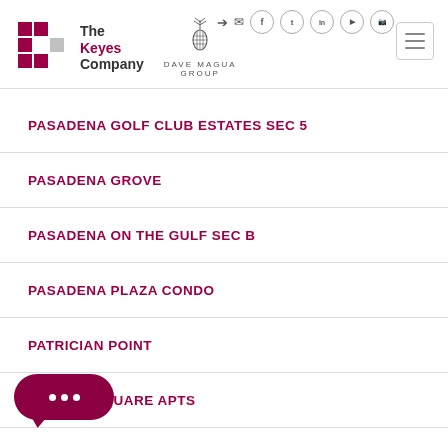The Keyes Company | Dave Magua Group
PASADENA GOLF CLUB ESTATES SEC 5
PASADENA GROVE
PASADENA ON THE GULF SEC B
PASADENA PLAZA CONDO
PATRICIAN POINT
PATRIOT SQUARE APTS
...NSEN SUB 1